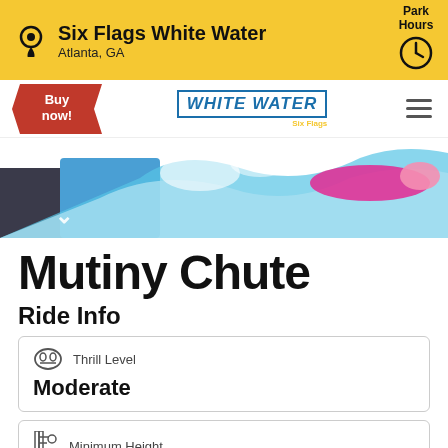Six Flags White Water
Atlanta, GA
Park Hours
[Figure (screenshot): Navigation bar with Buy Now button, White Water logo, and hamburger menu]
[Figure (photo): Action photo of a person on a water slide with splashing water]
Mutiny Chute
Ride Info
Thrill Level
Moderate
Minimum Height
42"